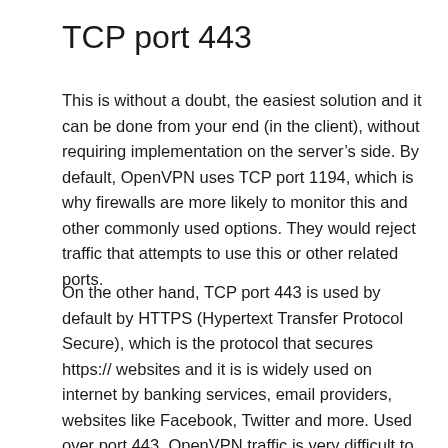TCP port 443
This is without a doubt, the easiest solution and it can be done from your end (in the client), without requiring implementation on the server’s side. By default, OpenVPN uses TCP port 1194, which is why firewalls are more likely to monitor this and other commonly used options. They would reject traffic that attempts to use this or other related ports.
On the other hand, TCP port 443 is used by default by HTTPS (Hypertext Transfer Protocol Secure), which is the protocol that secures https:// websites and it is is widely used on internet by banking services, email providers, websites like Facebook, Twitter and more. Used over port 443, OpenVPN traffic is very difficult to